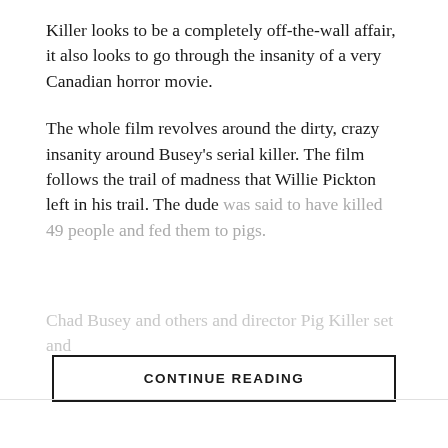Killer looks to be a completely off-the-wall affair, it also looks to go through the insanity of a very Canadian horror movie.
The whole film revolves around the dirty, crazy insanity around Busey's serial killer. The film follows the trail of madness that Willie Pickton left in his trail. The dude was said to have killed 49 people and fed them to pigs.
Chad Busey and others and director Pig Killer set and